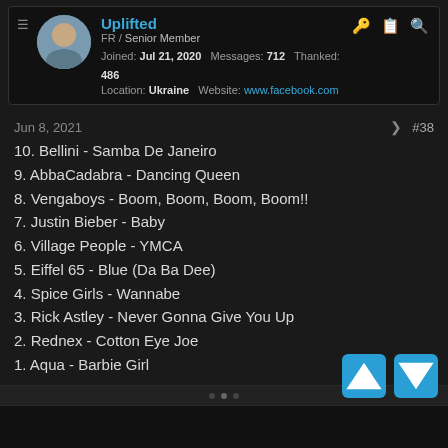Uplifted — FR / Senior Member — Joined: Jul 21, 2020 Messages: 712 Thanked: 486 Location: Ukraine Website: www.facebook.com
Jun 8, 2021  #38
10. Bellini - Samba De Janeiro
9. AbbaCadabra - Dancing Queen
8. Vengaboys - Boom, Boom, Boom, Boom!!
7. Justin Bieber - Baby
6. Village People - YMCA
5. Eiffel 65 - Blue (Da Ba Dee)
4. Spice Girls - Wannabe
3. Rick Astley - Never Gonna Give You Up
2. Rednex - Cotton Eye Joe
1. Aqua - Barbie Girl
#UndergroundForever
dmgtz96 and MDD